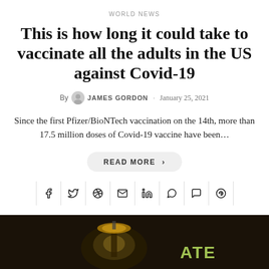WORLD NEWS
This is how long it could take to vaccinate all the adults in the US against Covid-19
By JAMES GORDON · January 25, 2021
Since the first Pfizer/BioNTech vaccination on the 14th, more than 17.5 million doses of Covid-19 vaccine have been...
READ MORE >
[Figure (photo): Dark nighttime photo showing the Seattle Space Needle illuminated in gold/yellow light, with green glowing text partially visible on the right side reading 'ATE']